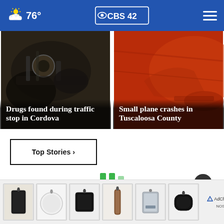CBS 42 — 76°
[Figure (screenshot): News card: dark close-up photo of a car undercarriage with headline 'Drugs found during traffic stop in Cordova']
Drugs found during traffic stop in Cordova
[Figure (screenshot): News card: red metallic car surface with headline 'Small plane crashes in Tuscaloosa County']
Small plane crashes in Tuscaloosa County
Top Stories ›
[Figure (infographic): Loading/buffering indicator with three vertical green bars]
[Figure (photo): Advertisement strip showing six phone accessories/cases and an AdChoices label]